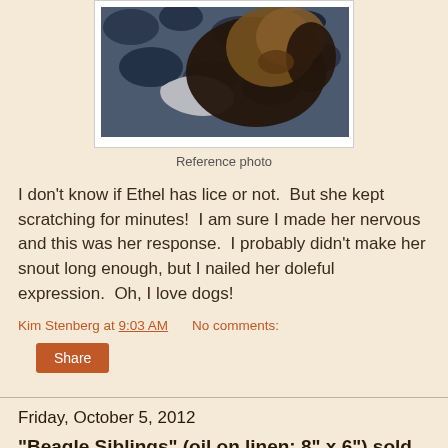[Figure (photo): Close-up photo of a dog (Ethel) with dark fur, shown from above on a patterned fabric background. The dog appears to be scratching.]
Reference photo
I don't know if Ethel has lice or not.  But she kept scratching for minutes!  I am sure I made her nervous and this was her response.  I probably didn't make her snout long enough, but I nailed her doleful expression.  Oh, I love dogs!
Kim Stenberg at 9:03 AM   No comments:
Share
Friday, October 5, 2012
"Beagle Siblings" (oil on linen; 8" x 6") sold